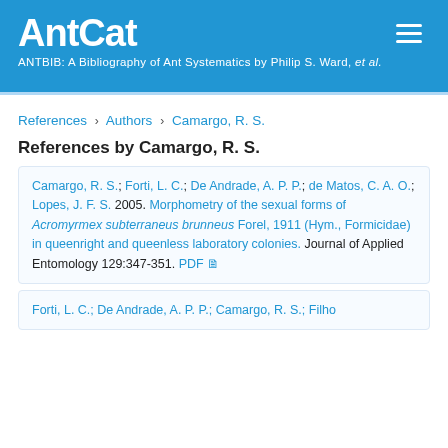AntCat
ANTBIB: A Bibliography of Ant Systematics by Philip S. Ward, et al.
References › Authors › Camargo, R. S.
References by Camargo, R. S.
Camargo, R. S.; Forti, L. C.; De Andrade, A. P. P.; de Matos, C. A. O.; Lopes, J. F. S. 2005. Morphometry of the sexual forms of Acromyrmex subterraneus brunneus Forel, 1911 (Hym., Formicidae) in queenright and queenless laboratory colonies. Journal of Applied Entomology 129:347-351. PDF
Forti, L. C.; De Andrade, A. P. P.; Camargo, R. S.; Filho